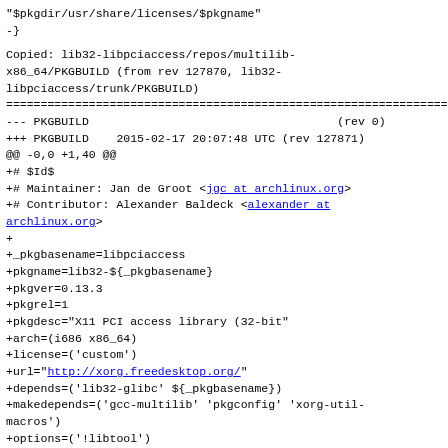"$pkgdir/usr/share/licenses/$pkgname"
-}
Copied: lib32-libpciaccess/repos/multilib-x86_64/PKGBUILD (from rev 127870, lib32-libpciaccess/trunk/PKGBUILD)
--- PKGBUILD                                    (rev 0)
+++ PKGBUILD    2015-02-17 20:07:48 UTC (rev 127871)
@@ -0,0 +1,40 @@
+# $Id$
+# Maintainer: Jan de Groot <jgc at archlinux.org>
+# Contributor: Alexander Baldeck <alexander at archlinux.org>
+
+_pkgbasename=libpciaccess
+pkgname=lib32-${_pkgbasename}
+pkgver=0.13.3
+pkgrel=1
+pkgdesc="X11 PCI access library (32-bit"
+arch=(i686 x86_64)
+license=('custom')
+url="http://xorg.freedesktop.org/"
+depends=('lib32-glibc' ${_pkgbasename})
+makedepends=('gcc-multilib' 'pkgconfig' 'xorg-util-macros')
+options=('!libtool')
+source=
(${url}/releases/individual/lib/${_pkgbasename}-${pkgver}
+sha256sums=